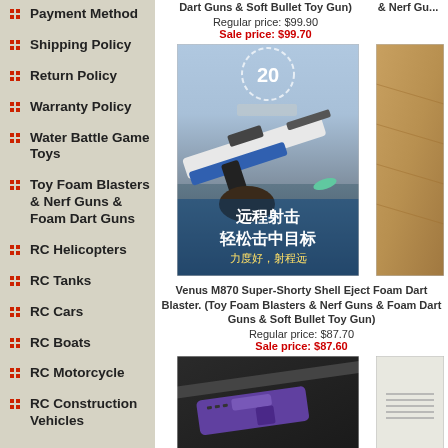Payment Method
Shipping Policy
Return Policy
Warranty Policy
Water Battle Game Toys
Toy Foam Blasters & Nerf Guns & Foam Dart Guns
RC Helicopters
RC Tanks
RC Cars
RC Boats
RC Motorcycle
RC Construction Vehicles
Dart Guns & Soft Bullet Toy Gun)
Regular price: $99.90
Sale price: $99.70
[Figure (photo): Venus M870 Super-Shorty Shell Eject Foam Dart Blaster toy gun product image]
Venus M870 Super-Shorty Shell Eject Foam Dart Blaster. (Toy Foam Blasters & Nerf Guns & Foam Dart Guns & Soft Bullet Toy Gun)
Regular price: $87.70
Sale price: $87.60
[Figure (photo): Another foam dart blaster product image (partial, bottom of page)]
BLG M... Blaster. ... Foam D...
& Nerf Gu...